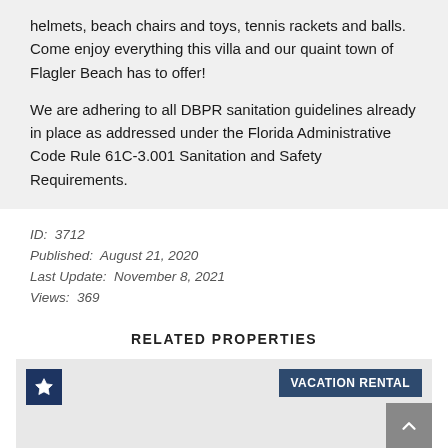helmets, beach chairs and toys, tennis rackets and balls. Come enjoy everything this villa and our quaint town of Flagler Beach has to offer!
We are adhering to all DBPR sanitation guidelines already in place as addressed under the Florida Administrative Code Rule 61C-3.001 Sanitation and Safety Requirements.
ID:  3712
Published:  August 21, 2020
Last Update:  November 8, 2021
Views:  369
RELATED PROPERTIES
[Figure (other): Card area with a dark blue star badge in top-left and a 'VACATION RENTAL' label in top-right, plus a scroll-to-top button in bottom-right]